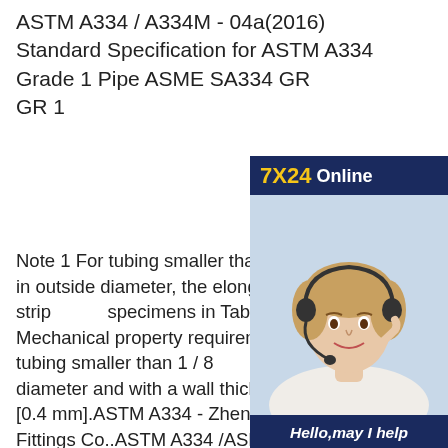ASTM A334 / A334M - 04a(2016) Standard Specification for ASTM A334 Grade 1 Pipe ASME SA334 GR GR 1
Note 1 For tubing smaller than 1 / [12.7 mm] in outside diameter, the elongation values given for strip specimens in Table 1 shall apply. Mechanical property requirements apply to tubing smaller than 1 / 8 mm] in outside diameter and with a wall thickness under 0.015 in. [0.4 mm].ASTM A334 - Zhengzhou Huitong Pipe Fittings Co..ASTM A334 /ASME SA334 ASTM A334/A334M-04a(2010) Standard Specification for Seamless and Welded Carbon and Alloy Steel Tubes for Low-
[Figure (infographic): Customer service advertisement showing a woman with headset, '7X24 Online' header, 'Hello, may I help you?' text, and 'Get Latest Price' button]